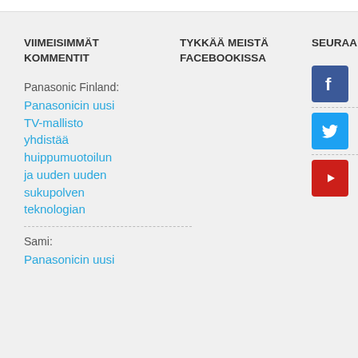VIIMEISIMMÄT KOMMENTIT
TYKKÄÄ MEISTÄ FACEBOOKISSA
SEURAA MEITÄ
Panasonic Finland:
Panasonicin uusi TV-mallisto yhdistää huippumuotoilun ja uuden uuden sukupolven teknologian
Sami:
Panasonicin uusi
[Figure (logo): Facebook icon - blue square with white F letter]
Facebook
[Figure (logo): Twitter icon - light blue square with white bird logo]
Twitter
[Figure (logo): YouTube icon - red square with white play button]
YouTube